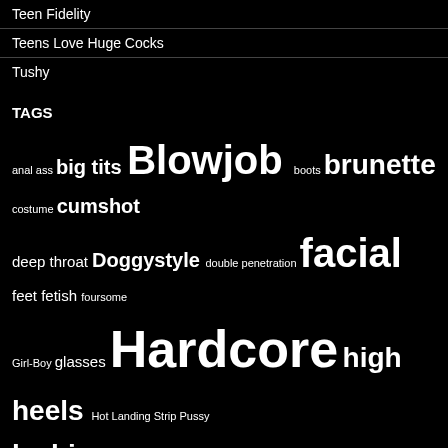Teen Fidelity
Teens Love Huge Cocks
Tushy
TAGS
anal ass big tits Blowjob boots brunette costume cumshot deep throat Doggystyle double penetration facial feet fetish foursome Girl-Boy glasses Hardcore high heels Hot Landing Strip Pussy lesbian lesbians lingerie Long hair masturbation Medium Boobs medium tits missionary outdoors pain panties Petite Puffy Nipples pussy licking Sexy Short Girls shorts sneakers stockings Super Skinny Tan Tan Lines Thongs threesome